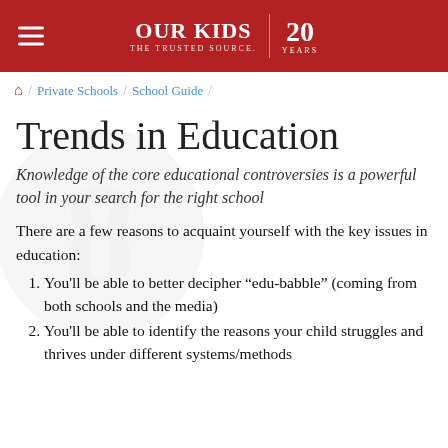Our Kids | The Trusted Source. 20 Years
Home / Private Schools / School Guide
Trends in Education
Knowledge of the core educational controversies is a powerful tool in your search for the right school
There are a few reasons to acquaint yourself with the key issues in education:
You'll be able to better decipher “edu-babble” (coming from both schools and the media)
You'll be able to identify the reasons your child struggles and thrives under different systems/methods